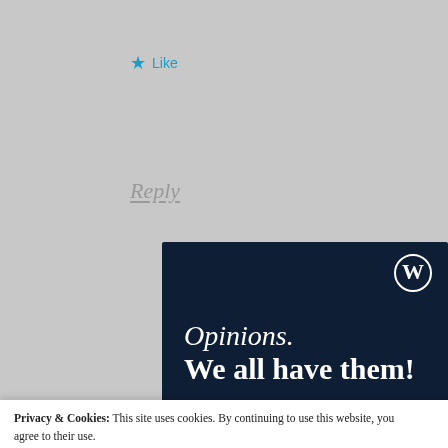★ Like
Reply
[Figure (screenshot): WordPress advertisement banner on dark navy background. Shows WordPress (W) logo top right, text 'Opinions. We all have them!' in white serif font, a pink 'Start a survey' button bottom left, and a white circular Crowd Signal badge bottom right.]
Privacy & Cookies: This site uses cookies. By continuing to use this website, you agree to their use.
To find out more, including how to control cookies, see here: Cookie Policy
Close and accept